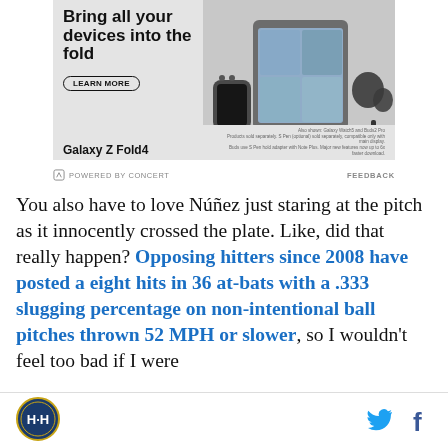[Figure (advertisement): Samsung Galaxy Z Fold4 advertisement. Headline: 'Bring all your devices into the fold'. Learn More button. Product image showing a foldable phone with video call, a smartwatch, earbuds, and stylus.]
POWERED BY CONCERT   FEEDBACK
You also have to love Núñez just staring at the pitch as it innocently crossed the plate. Like, did that really happen? Opposing hitters since 2008 have posted a eight hits in 36 at-bats with a .333 slugging percentage on non-intentional ball pitches thrown 52 MPH or slower, so I wouldn't feel too bad if I were
[Figure (logo): Baseball site circular logo with H-H emblem]
[Figure (other): Twitter bird icon and Facebook f icon for social sharing]